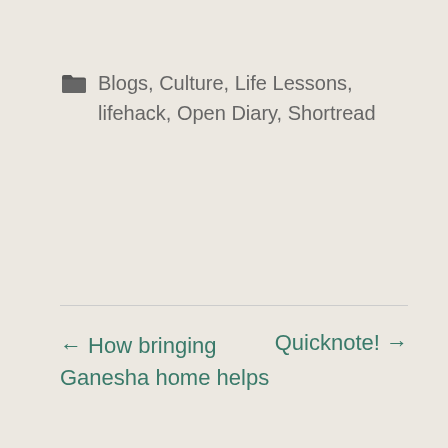Blogs, Culture, Life Lessons, lifehack, Open Diary, Shortread
← How bringing Ganesha home helps
Quicknote! →